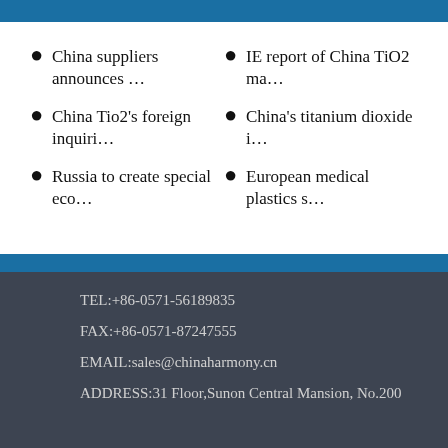China suppliers announces …
IE report of China TiO2 ma…
China Tio2's foreign inquiri…
China's titanium dioxide i…
Russia to create special eco…
European medical plastics s…
TEL:+86-0571-56189835
FAX:+86-0571-87247555
EMAIL:sales@chinaharmony.cn
ADDRESS:31 Floor,Sunon Central Mansion, No.200